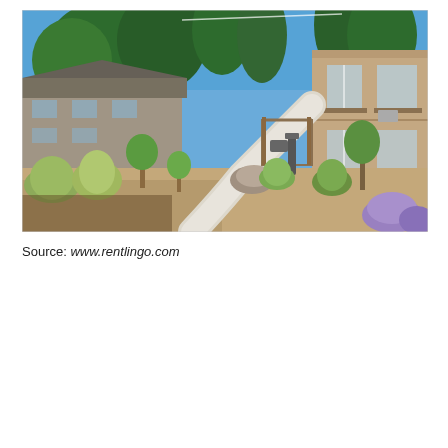[Figure (photo): Outdoor courtyard of an apartment complex. A winding concrete pathway leads through a xeriscape landscape with ornamental grasses, small trees, lavender plants, and decorative boulders. Two-story apartment buildings with brown/tan siding and balconies are visible on the right. More residential buildings and tall pine trees are visible in the background under a bright blue sky.]
Source: www.rentlingo.com